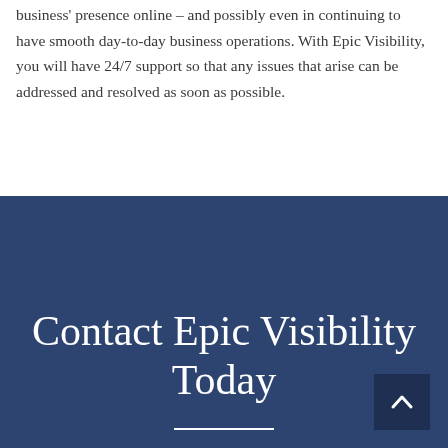business' presence online – and possibly even in continuing to have smooth day-to-day business operations. With Epic Visibility, you will have 24/7 support so that any issues that arise can be addressed and resolved as soon as possible.
Contact Epic Visibility Today